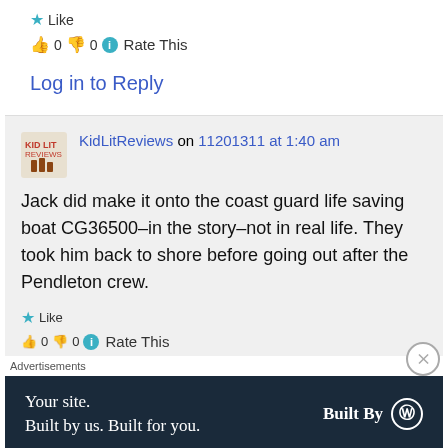★ Like
👍 0 👎 0 ℹ Rate This
Log in to Reply
KidLitReviews on 11201311 at 1:40 am
Jack did make it onto the coast guard life saving boat CG36500–in the story–not in real life. They took him back to shore before going out after the Pendleton crew.
★ Like
👍 0 👎 0 ℹ Rate This
Advertisements
Your site. Built by us. Built for you. Built By WordPress